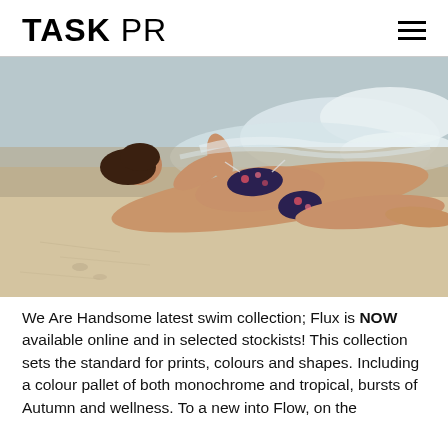TASK PR
[Figure (photo): A female model wearing a floral bikini lying on a sandy beach with ocean waves washing up beside her.]
We Are Handsome latest swim collection; Flux is NOW available online and in selected stockists! This collection sets the standard for prints, colours and shapes. Including a colour pallet of both monochrome and tropical, bursts of Autumn and wellness. To a new into Flow, on the